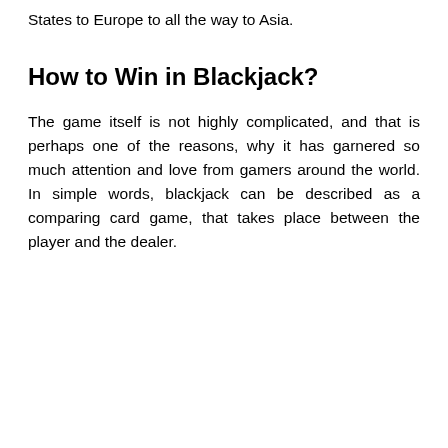States to Europe to all the way to Asia.
How to Win in Blackjack?
The game itself is not highly complicated, and that is perhaps one of the reasons, why it has garnered so much attention and love from gamers around the world. In simple words, blackjack can be described as a comparing card game, that takes place between the player and the dealer.